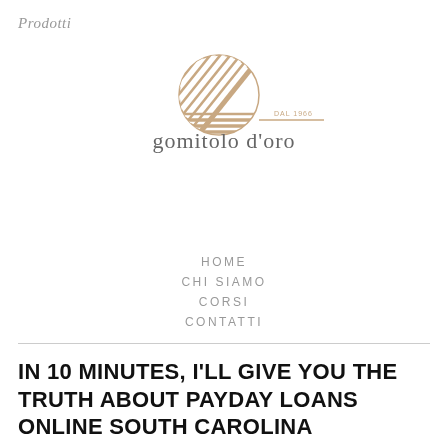Prodotti
[Figure (logo): Gomitolo d'oro logo: a yarn ball icon made of diagonal stripes in tan/beige color, with a horizontal line extending right and 'DAL 1966' text, followed by the brand name 'gomitolo d'oro' in elegant lowercase serif font]
HOME
CHI SIAMO
CORSI
CONTATTI
IN 10 MINUTES, I'LL GIVE YOU THE TRUTH ABOUT PAYDAY LOANS ONLINE SOUTH CAROLINA